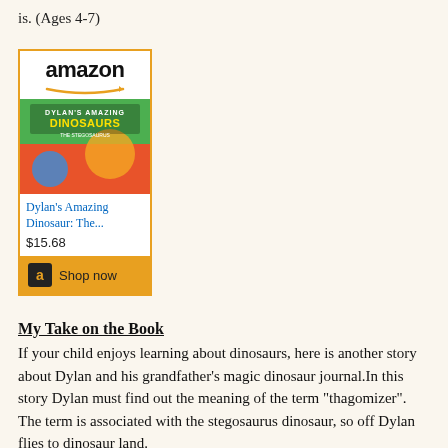is. (Ages 4-7)
[Figure (other): Amazon widget showing Dylan's Amazing Dinosaur: The... book listing at $15.68 with a Shop now button]
My Take on the Book
If your child enjoys learning about dinosaurs, here is another story about Dylan and his grandfather's magic dinosaur journal.In this story Dylan must find out the meaning of the term "thagomizer". The term is associated with the stegosaurus dinosaur, so off Dylan flies to dinosaur land.
Dylan has an adventure while learning about the thagomizer.